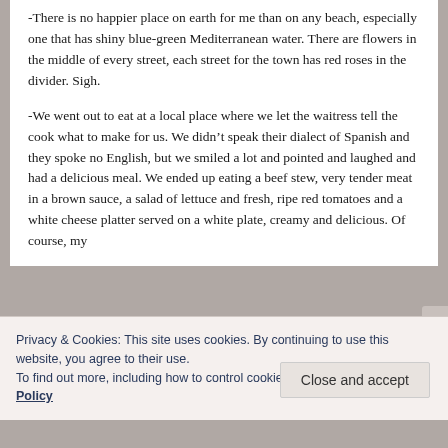-There is no happier place on earth for me than on any beach, especially one that has shiny blue-green Mediterranean water. There are flowers in the middle of every street, each street for the town has red roses in the divider. Sigh.
-We went out to eat at a local place where we let the waitress tell the cook what to make for us. We didn't speak their dialect of Spanish and they spoke no English, but we smiled a lot and pointed and laughed and had a delicious meal. We ended up eating a beef stew, very tender meat in a brown sauce, a salad of lettuce and fresh, ripe red tomatoes and a white cheese platter served on a white plate, creamy and delicious. Of course, my
Privacy & Cookies: This site uses cookies. By continuing to use this website, you agree to their use.
To find out more, including how to control cookies, see here: Cookie Policy